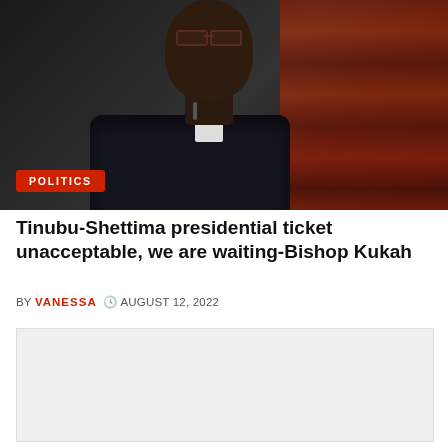[Figure (photo): Bishop Kukah wearing clerical collar and suit, seated in front of bookshelves with red books. A 'POLITICS' badge overlay appears at bottom left of the image.]
Tinubu-Shettima presidential ticket unacceptable, we are waiting-Bishop Kukah
BY VANESSA  © AUGUST 12, 2022
[Figure (other): Advertisement placeholder box (light grey)]